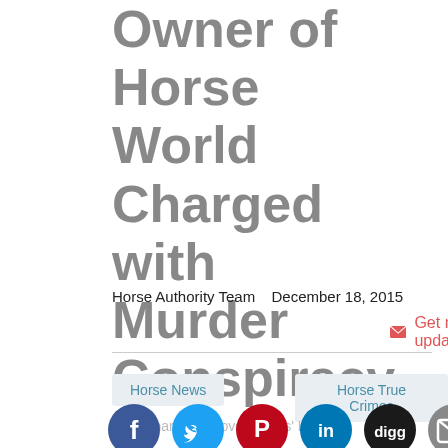Owner of Horse World Charged with Murder Conspiracy
Horse Authority Team  December 18, 2015
Get news updates
Horse News
Horse True Crimes
Your Shares Improve Horses' Lives